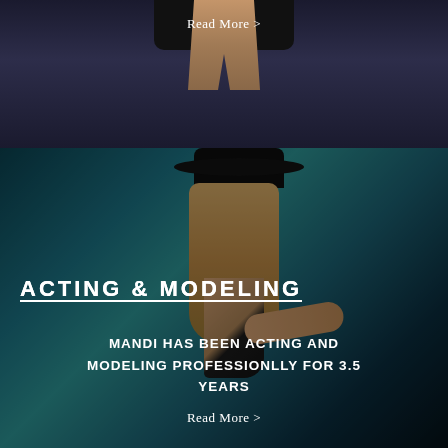Read More >
[Figure (photo): Partial view of a person in a black skirt/shorts against a dark navy background — only the lower torso and legs visible]
[Figure (photo): Woman wearing a black wide-brim hat and black outfit, with long blonde hair, posing against a teal/dark background — acting and modeling promotional image]
ACTING & MODELING
MANDI HAS BEEN ACTING AND MODELING PROFESSIONLLY FOR 3.5 YEARS
Read More >